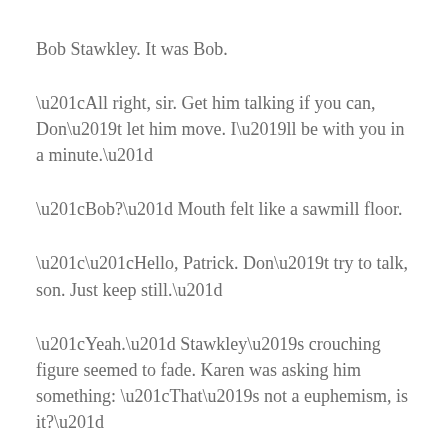Bob Stawkley.  It was Bob.
“All right, sir.  Get him talking if you can,  Don’t let him move.  I’ll be with you in a minute.”
“Bob?”  Mouth felt like a sawmill floor.
““Hello, Patrick.  Don’t try to talk, son.  Just keep still.”
“Yeah.”  Stawkley’s crouching figure seemed to fade.  Karen was asking him something:  “That’s not a euphemism, is it?”